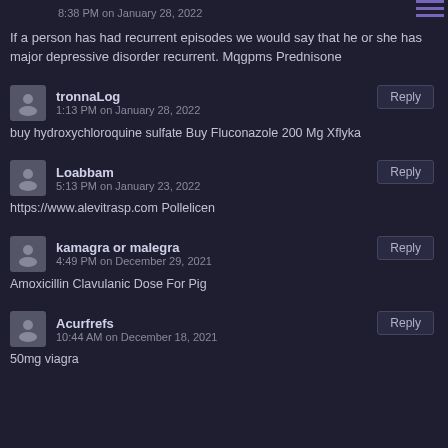If a person has had recurrent episodes we would say that he or she has major depressive disorder recurrent. Mqgpms Prednisone
8:38 PM on January 28, 2022
tronnaLog
1:13 PM on January 28, 2022
buy hydroxychloroquine sulfate Buy Fluconazole 200 Mg Xflyka
Loabbam
5:13 PM on January 23, 2022
https://www.alevitrasp.com Pollelicen
kamagra or malegra
4:49 PM on December 29, 2021
Amoxicillin Clavulanic Dose For Pig
Acurfrefs
10:44 AM on December 18, 2021
50mg viagra